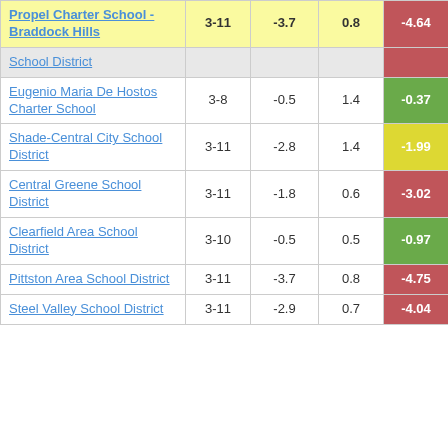| School/District | Grades | Col3 | Col4 | Score |
| --- | --- | --- | --- | --- |
| Propel Charter School - Braddock Hills | 3-11 | -3.7 | 0.8 | -4.64 |
| School District (partial) |  |  |  |  |
| Eugenio Maria De Hostos Charter School | 3-8 | -0.5 | 1.4 | -0.37 |
| Shade-Central City School District | 3-11 | -2.8 | 1.4 | -1.99 |
| Central Greene School District | 3-11 | -1.8 | 0.6 | -3.02 |
| Clearfield Area School District | 3-10 | -0.5 | 0.5 | -0.97 |
| Pittston Area School District | 3-11 | -3.7 | 0.8 | -4.75 |
| Steel Valley School District | 3-11 | -2.9 | 0.7 | -4.04 |